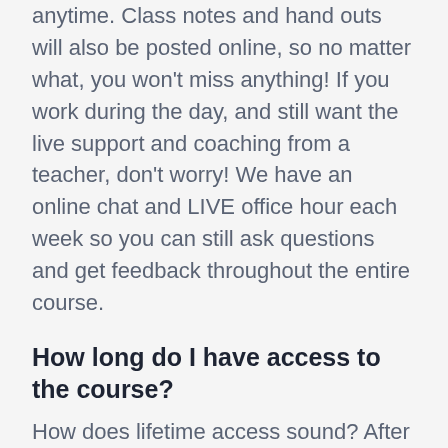anytime. Class notes and hand outs will also be posted online, so no matter what, you won't miss anything! If you work during the day, and still want the live support and coaching from a teacher, don't worry! We have an online chat and LIVE office hour each week so you can still ask questions and get feedback throughout the entire course.
How long do I have access to the course?
How does lifetime access sound? After enrolling, you have unlimited access to this course for as long as you like - across any and all devices you own.